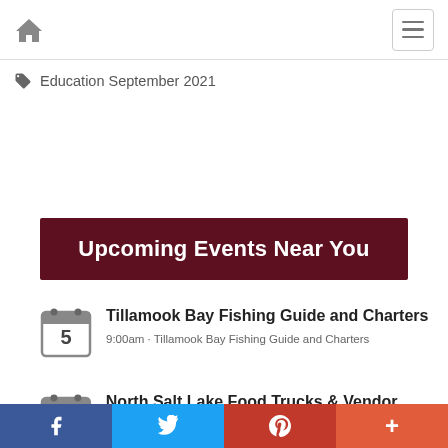Home / Menu
Education September 2021
Upcoming Events Near You
Tillamook Bay Fishing Guide and Charters
9:00am · Tillamook Bay Fishing Guide and Charters
North Salt Lake Food Trucks & Vendor Fair
f  Twitter  P  +